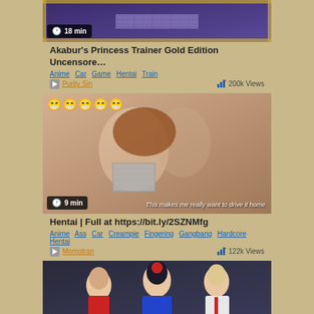[Figure (screenshot): Animated game/anime style thumbnail with purple/gold decorative border, showing 18 min duration badge]
Akabur's Princess Trainer Gold Edition Uncensore…
Anime  Car  Game  Hentai  Train
Purity Sin    200k Views
[Figure (screenshot): Anime hentai style thumbnail with emoji row at top, 9 min duration badge, subtitle text overlay saying 'This makes me really want to drive it home.']
Hentai | Full at https://bit.ly/2SZNMfg
Anime  Ass  Car  Creampie  Fingering  Gangbang  Hardcore  Hentai
Momotran    122k Views
[Figure (screenshot): Animated style thumbnail showing three cartoon characters in a room]